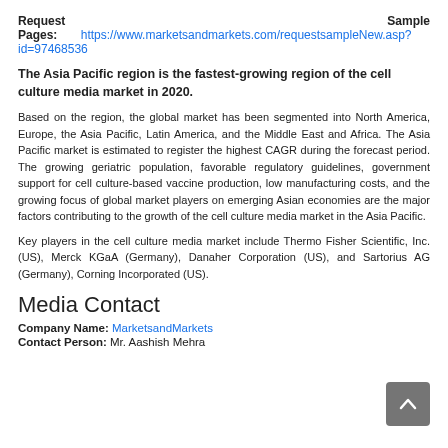Request Sample Pages: https://www.marketsandmarkets.com/requestsampleNew.asp?id=97468536
The Asia Pacific region is the fastest-growing region of the cell culture media market in 2020.
Based on the region, the global market has been segmented into North America, Europe, the Asia Pacific, Latin America, and the Middle East and Africa. The Asia Pacific market is estimated to register the highest CAGR during the forecast period. The growing geriatric population, favorable regulatory guidelines, government support for cell culture-based vaccine production, low manufacturing costs, and the growing focus of global market players on emerging Asian economies are the major factors contributing to the growth of the cell culture media market in the Asia Pacific.
Key players in the cell culture media market include Thermo Fisher Scientific, Inc. (US), Merck KGaA (Germany), Danaher Corporation (US), and Sartorius AG (Germany), Corning Incorporated (US).
Media Contact
Company Name: MarketsandMarkets
Contact Person: Mr. Aashish Mehra